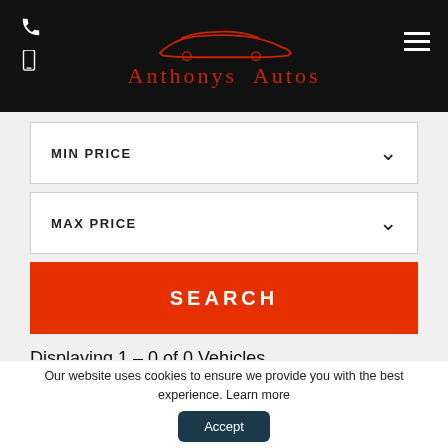Anthonys Autos
MIN PRICE
MAX PRICE
SEARCH
Displaying 1 - 0 of 0 Vehicles
HIGH TO LOW
REFRESH FILTER
Our website uses cookies to ensure we provide you with the best experience. Learn more Accept